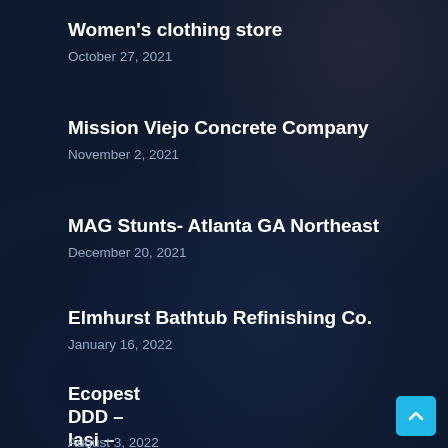Women's clothing store
October 27, 2021
Mission Viejo Concrete Company
November 2, 2021
MAG Stunts- Atlanta GA Northeast
December 20, 2021
Elmhurst Bathtub Refinishing Co.
January 16, 2022
Ecopest DDD – Iași – Deratizare, Dezinsectie, Dezinfecție
August 3, 2022